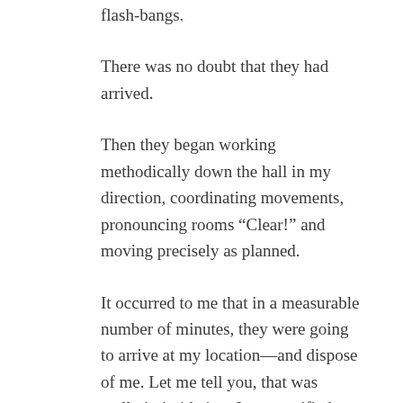flash-bangs.
There was no doubt that they had arrived.
Then they began working methodically down the hall in my direction, coordinating movements, pronouncing rooms “Clear!” and moving precisely as planned.
It occurred to me that in a measurable number of minutes, they were going to arrive at my location—and dispose of me. Let me tell you, that was really intimidating. I was terrified.
Even in a simulation.